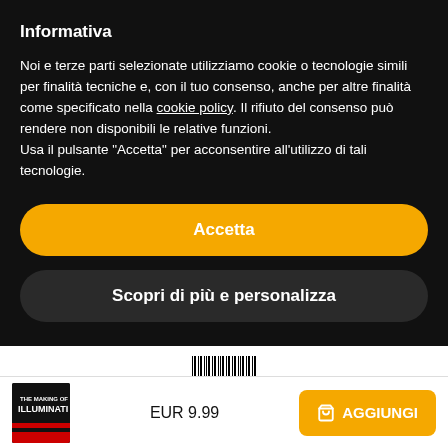Informativa
Noi e terze parti selezionate utilizziamo cookie o tecnologie simili per finalità tecniche e, con il tuo consenso, anche per altre finalità come specificato nella cookie policy. Il rifiuto del consenso può rendere non disponibili le relative funzioni.
Usa il pulsante “Accetta” per acconsentire all'utilizzo di tali tecnologie.
Accetta
Scopri di più e personalizza
ISBN
[Figure (other): Barcode image representing ISBN]
13 t3062 4
EUR 9.99
AGGIUNGI